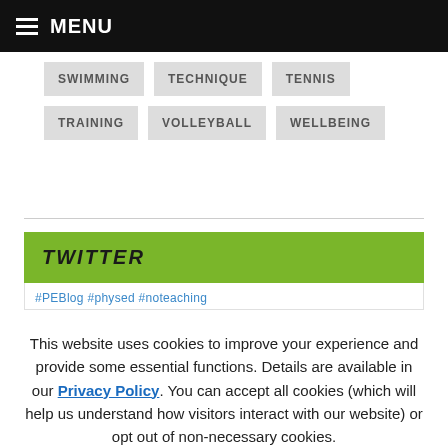MENU
SWIMMING
TECHNIQUE
TENNIS
TRAINING
VOLLEYBALL
WELLBEING
TWITTER
#PEBlog #physed #noteaching
This website uses cookies to improve your experience and provide some essential functions. Details are available in our Privacy Policy. You can accept all cookies (which will help us understand how visitors interact with our website) or opt out of non-necessary cookies.
Accept
Opt Out